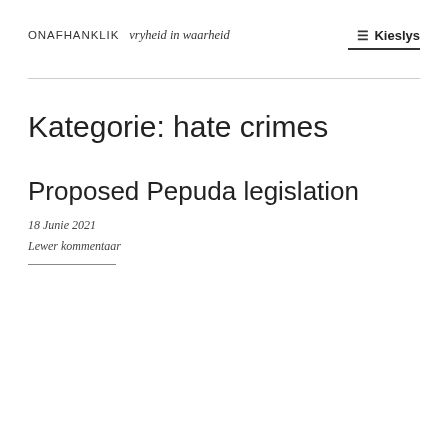ONAFH ANKLIK   vryheid in waarheid     ≡ Kieslys
Kategorie: hate crimes
Proposed Pepuda legislation
18 Junie 2021
Lewer kommentaar